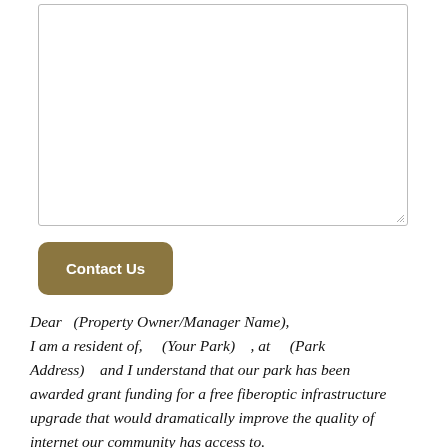[Figure (other): Empty textarea input box with resize handle in bottom-right corner]
Contact Us
Dear (Property Owner/Manager Name), I am a resident of, (Your Park) , at (Park Address) and I understand that our park has been awarded grant funding for a free fiberoptic infrastructure upgrade that would dramatically improve the quality of internet our community has access to.